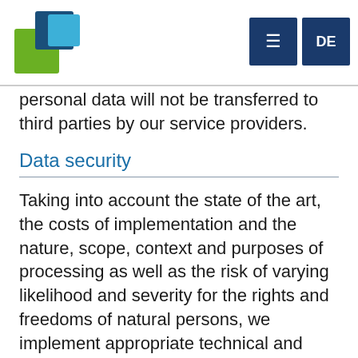[Figure (logo): Company logo composed of overlapping green, dark blue, and light blue squares]
[Figure (infographic): Navigation menu icon (hamburger) and DE language button, both dark navy blue squares]
personal data will not be transferred to third parties by our service providers.
Data security
Taking into account the state of the art, the costs of implementation and the nature, scope, context and purposes of processing as well as the risk of varying likelihood and severity for the rights and freedoms of natural persons, we implement appropriate technical and organisational measures to ensure a level of security appropriate to the risk pursuant to Art. 32